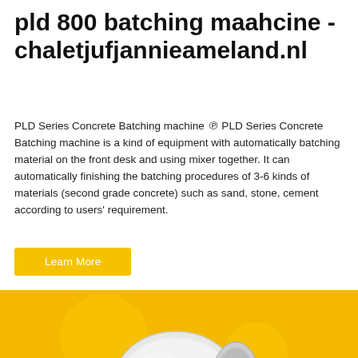pld 800 batching maahcine - chaletjufjannieameland.nl
PLD Series Concrete Batching machine ℗ PLD Series Concrete Batching machine is a kind of equipment with automatically batching material on the front desk and using mixer together. It can automatically finishing the batching procedures of 3-6 kinds of materials (second grade concrete) such as sand, stone, cement according to users' requirement.
Learn More
[Figure (photo): Yellow background image showing a concrete batching/cement mixer machine in white and blue colors, with construction equipment visible.]